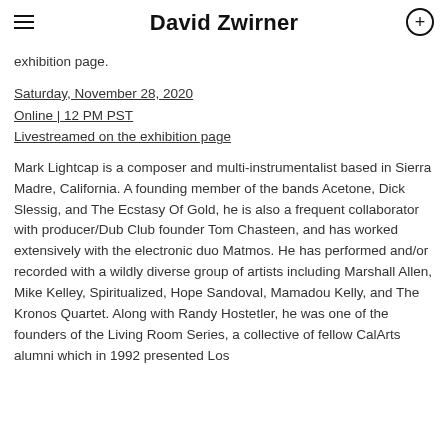David Zwirner
exhibition page.
Saturday, November 28, 2020
Online | 12 PM PST
Livestreamed on the exhibition page
Mark Lightcap is a composer and multi-instrumentalist based in Sierra Madre, California. A founding member of the bands Acetone, Dick Slessig, and The Ecstasy Of Gold, he is also a frequent collaborator with producer/Dub Club founder Tom Chasteen, and has worked extensively with the electronic duo Matmos. He has performed and/or recorded with a wildly diverse group of artists including Marshall Allen, Mike Kelley, Spiritualized, Hope Sandoval, Mamadou Kelly, and The Kronos Quartet. Along with Randy Hostetler, he was one of the founders of the Living Room Series, a collective of fellow CalArts alumni which in 1992 presented Los